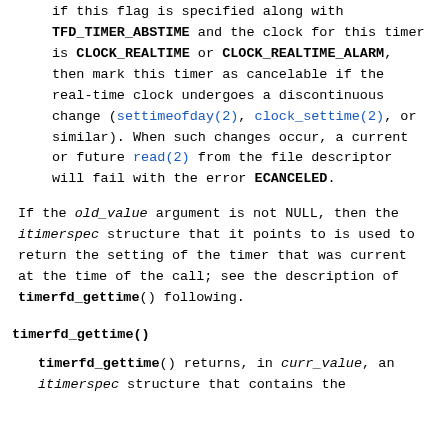If this flag is specified along with TFD_TIMER_ABSTIME and the clock for this timer is CLOCK_REALTIME or CLOCK_REALTIME_ALARM, then mark this timer as cancelable if the real-time clock undergoes a discontinuous change (settimeofday(2), clock_settime(2), or similar). When such changes occur, a current or future read(2) from the file descriptor will fail with the error ECANCELED.
If the old_value argument is not NULL, then the itimerspec structure that it points to is used to return the setting of the timer that was current at the time of the call; see the description of timerfd_gettime() following.
timerfd_gettime()
timerfd_gettime() returns, in curr_value, an itimerspec structure that contains the